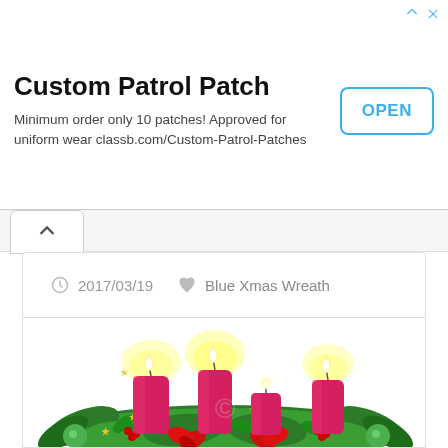[Figure (screenshot): Advertisement banner for Custom Patrol Patch with title, description text, and OPEN button]
Custom Patrol Patch
Minimum order only 10 patches! Approved for uniform wear classb.com/Custom-Patrol-Patches
2017/03/19    Blue Xmas Wreath
[Figure (illustration): Christmas advent wreath with four red candles lit, surrounded by green holly, pine branches, red poinsettia flowers, green ornament balls, and gold stars]